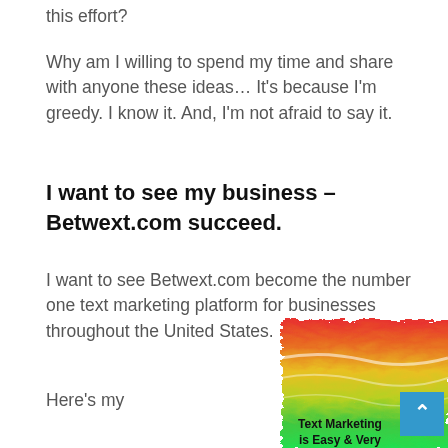this effort?
Why am I willing to spend my time and share with anyone these ideas… It's because I'm greedy.  I know it. And, I'm not afraid to say it.
I want to see my business – Betwext.com succeed.
I want to see Betwext.com become the number one text marketing platform for businesses throughout the United States.
Here's my
[Figure (photo): Rainbow-colored wavy abstract background image with bold black text overlay reading 'Text Marketing is Easy & Very' at the bottom, and a teal scroll-to-top button in the lower right corner.]